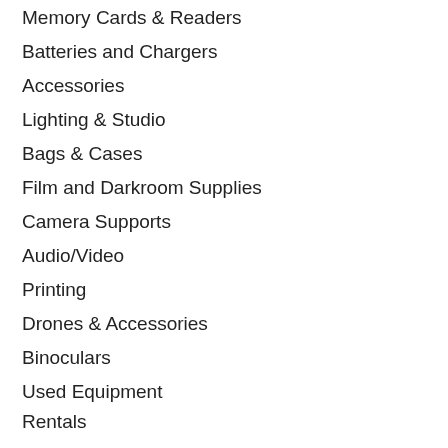Memory Cards & Readers
Batteries and Chargers
Accessories
Lighting & Studio
Bags & Cases
Film and Darkroom Supplies
Camera Supports
Audio/Video
Printing
Drones & Accessories
Binoculars
Used Equipment
Rentals
My account